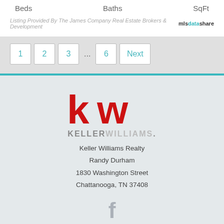Beds    Baths    SqFt
Listing Provided By The James Company Real Estate Brokers & Development  mlsdatashare
1  2  3  ...  6  Next
[Figure (logo): Keller Williams kw logo in red and gray]
Keller Williams Realty
Randy Durham
1830 Washington Street
Chattanooga, TN 37408
[Figure (illustration): Facebook icon in gray]
Menu